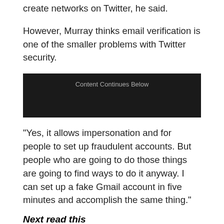create networks on Twitter, he said.
However, Murray thinks email verification is one of the smaller problems with Twitter security.
[Figure (other): Advertisement placeholder box with text 'Content Continues Below' on dark background]
"Yes, it allows impersonation and for people to set up fraudulent accounts. But people who are going to do those things are going to find ways to do it anyway. I can set up a fake Gmail account in five minutes and accomplish the same thing."
Next read this
The 10 most powerful cybersecurity